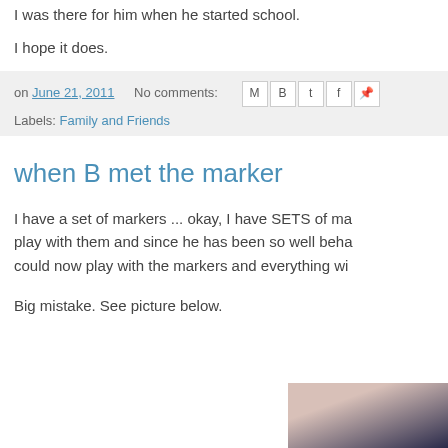I was there for him when he started school.
I hope it does.
on June 21, 2011   No comments:   Labels: Family and Friends
when B met the marker
I have a set of markers ... okay, I have SETS of ma... play with them and since he has been so well beha... could now play with the markers and everything wi...
Big mistake. See picture below.
[Figure (photo): Partial photo visible at bottom right of page, showing skin and dark hair]